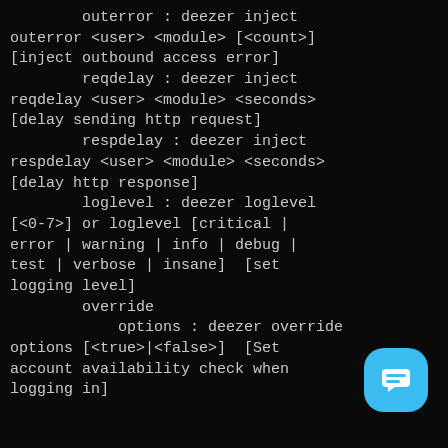outerror : deezer inject outerror <user> <module> [<count>] [inject outbound access error]
        reqdelay : deezer inject reqdelay <user> <module> <seconds> [delay sending http request]
        respdelay : deezer inject respdelay <user> <module> <seconds> [delay http response]
        loglevel : deezer loglevel [<0-7>] or loglevel [critical | error | warning | info | debug | test | verbose | insane]  [set logging level]
        override
            options : deezer override options [<true>|<false>]  [Set account availability check when logging in]